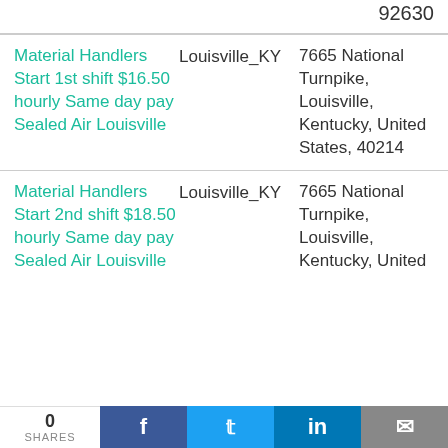92630
Material Handlers Start 1st shift $16.50 hourly Same day pay Sealed Air Louisville | Louisville_KY | 7665 National Turnpike, Louisville, Kentucky, United States, 40214
Material Handlers Start 2nd shift $18.50 hourly Same day pay Sealed Air Louisville | Louisville_KY | 7665 National Turnpike, Louisville, Kentucky, United States, United
0 SHARES  f  t  in  mail